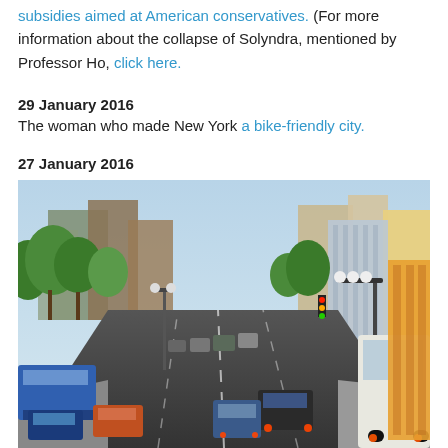subsidies aimed at American conservatives. (For more information about the collapse of Solyndra, mentioned by Professor Ho, click here.
29 January 2016
The woman who made New York a bike-friendly city.
27 January 2016
[Figure (photo): Urban street scene showing heavy traffic on a multi-lane road in a city, with tall buildings on both sides, green trees, buses and cars visible, and street lamps overhead.]